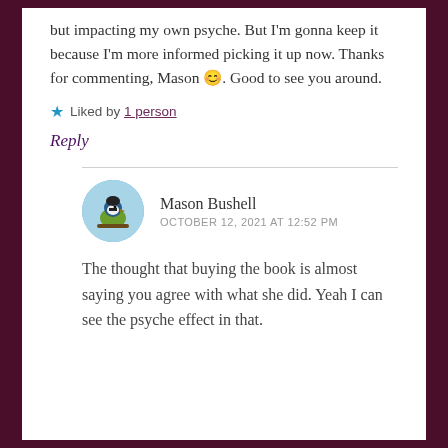but impacting my own psyche. But I'm gonna keep it because I'm more informed picking it up now. Thanks for commenting, Mason 😊. Good to see you around.
★ Liked by 1 person
Reply
Mason Bushell
OCTOBER 12, 2021 AT 12:52 PM
The thought that buying the book is almost saying you agree with what she did. Yeah I can see the psyche effect in that.